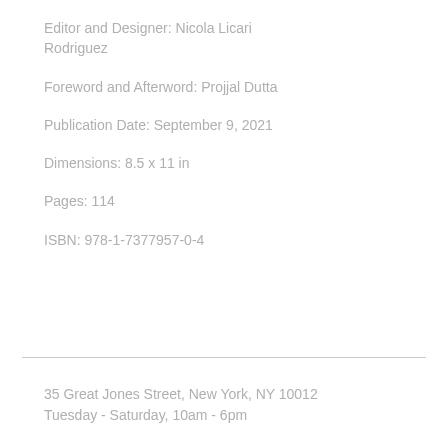Editor and Designer: Nicola Licari Rodriguez
Foreword and Afterword: Projjal Dutta
Publication Date: September 9, 2021
Dimensions: 8.5 x 11 in
Pages: 114
ISBN: 978-1-7377957-0-4
35 Great Jones Street, New York, NY 10012
Tuesday - Saturday, 10am - 6pm